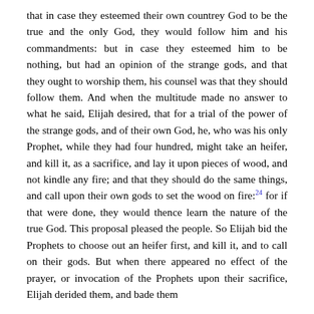that in case they esteemed their own countrey God to be the true and the only God, they would follow him and his commandments: but in case they esteemed him to be nothing, but had an opinion of the strange gods, and that they ought to worship them, his counsel was that they should follow them. And when the multitude made no answer to what he said, Elijah desired, that for a trial of the power of the strange gods, and of their own God, he, who was his only Prophet, while they had four hundred, might take an heifer, and kill it, as a sacrifice, and lay it upon pieces of wood, and not kindle any fire; and that they should do the same things, and call upon their own gods to set the wood on fire:24 for if that were done, they would thence learn the nature of the true God. This proposal pleased the people. So Elijah bid the Prophets to choose out an heifer first, and kill it, and to call on their gods. But when there appeared no effect of the prayer, or invocation of the Prophets upon their sacrifice, Elijah derided them, and bade them